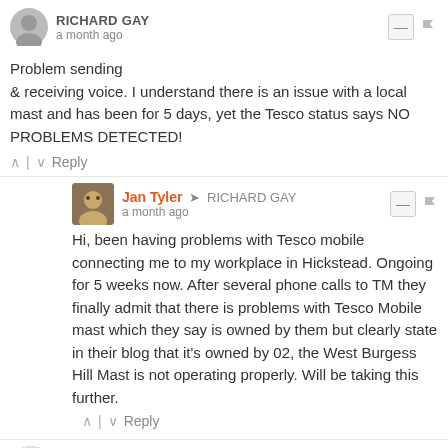RICHARD GAY · a month ago
Problem sending & receiving voice. I understand there is an issue with a local mast and has been for 5 days, yet the Tesco status says NO PROBLEMS DETECTED!
^ | v  Reply
Jan Tyler → RICHARD GAY · a month ago
Hi, been having problems with Tesco mobile connecting me to my workplace in Hickstead. Ongoing for 5 weeks now. After several phone calls to TM they finally admit that there is problems with Tesco Mobile mast which they say is owned by them but clearly state in their blog that it's owned by 02, the West Burgess Hill Mast is not operating properly. Will be taking this further.
^ | v  Reply
Pam · a month ago
No signal Bakewell and hasn't been since Sunday, other than